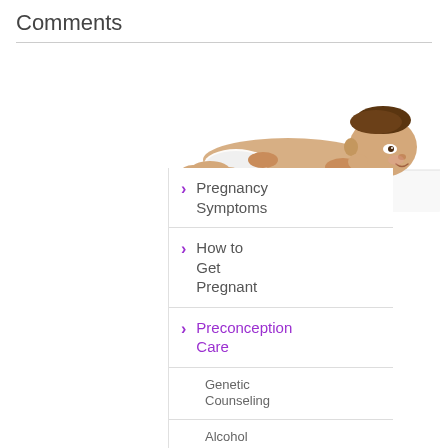Comments
[Figure (photo): A baby in a white diaper lying on its stomach, propped up on its elbows, smiling and looking forward. The baby is on a white surface against a white background.]
Pregnancy Symptoms
How to Get Pregnant
Preconception Care
Genetic Counseling
Alcohol & Smoking
Conception